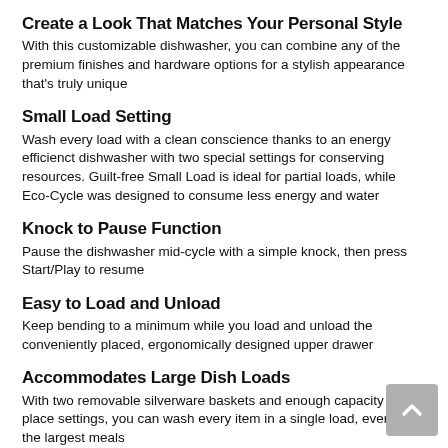Create a Look That Matches Your Personal Style
With this customizable dishwasher, you can combine any of the premium finishes and hardware options for a stylish appearance that's truly unique
Small Load Setting
Wash every load with a clean conscience thanks to an energy efficienct dishwasher with two special settings for conserving resources. Guilt-free Small Load is ideal for partial loads, while Eco-Cycle was designed to consume less energy and water
Knock to Pause Function
Pause the dishwasher mid-cycle with a simple knock, then press Start/Play to resume
Easy to Load and Unload
Keep bending to a minimum while you load and unload the conveniently placed, ergonomically designed upper drawer
Accommodates Large Dish Loads
With two removable silverware baskets and enough capacity for 14 place settings, you can wash every item in a single load, even after the largest meals